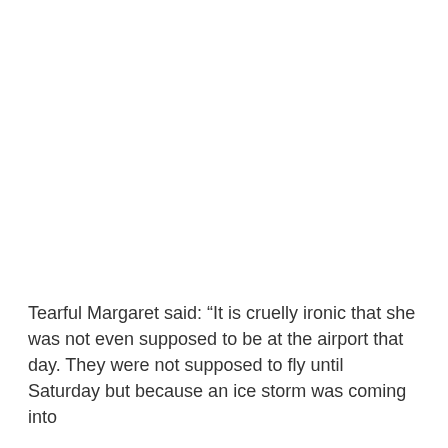Tearful Margaret said: “It is cruelly ironic that she was not even supposed to be at the airport that day. They were not supposed to fly until Saturday but because an ice storm was coming into